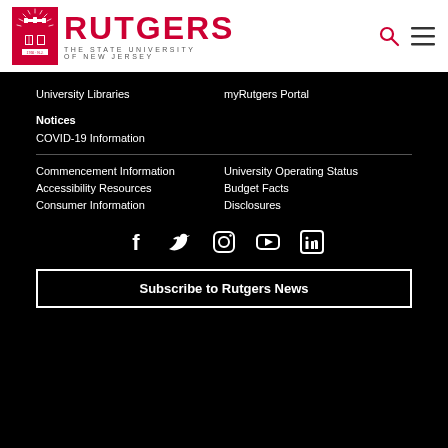Rutgers The State University of New Jersey
University Libraries
myRutgers Portal
Notices
COVID-19 Information
Commencement Information
University Operating Status
Accessibility Resources
Budget Facts
Consumer Information
Disclosures
[Figure (infographic): Social media icons row: Facebook, Twitter, Instagram, YouTube, LinkedIn]
Subscribe to Rutgers News